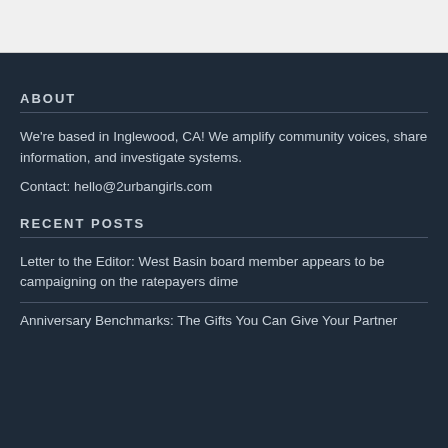ABOUT
We're based in Inglewood, CA! We amplify community voices, share information, and investigate systems.
Contact: hello@2urbangirls.com
RECENT POSTS
Letter to the Editor: West Basin board member appears to be campaigning on the ratepayers dime
Anniversary Benchmarks: The Gifts You Can Give Your Partner